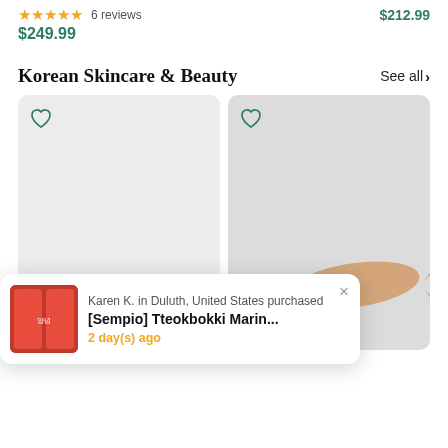★★★★★ 6 reviews   $212.99
$249.99
Korean Skincare & Beauty
See all >
[Figure (screenshot): Left product card with heart icon, gray background, no product image visible]
[Figure (photo): Right product card showing a wooden fish-shaped gua sha tool on a light gray background, with a heart icon in top left]
Karen K. in Duluth, United States purchased
[Sempio] Tteokbokki Marin...
2 day(s) ago